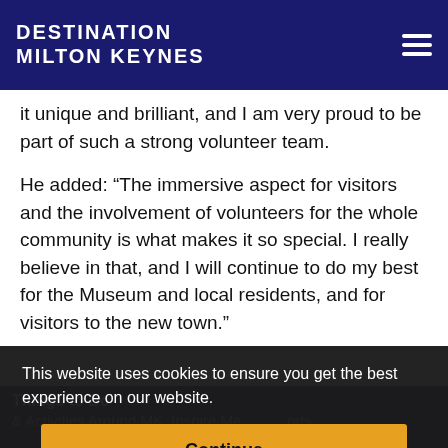DESTINATION MILTON KEYNES
it unique and brilliant, and I am very proud to be part of such a strong volunteer team.
He added: “The immersive aspect for visitors and the involvement of volunteers for the whole community is what makes it so special. I really believe in that, and I will continue to do my best for the Museum and local residents, and for visitors to the new town.”
This website uses cookies to ensure you get the best experience on our website.
Continue
Things to Do
& Activities Around MK, Inspire Me...